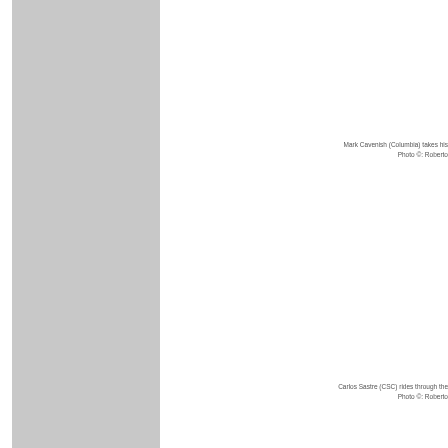[Figure (photo): Gray placeholder image column on the left side of the page representing a photo]
Mark Cavenish (Columbia) takes his
Photo ©: Roberto
Carlos Sastre (CSC) rides through the
Photo ©: Roberto